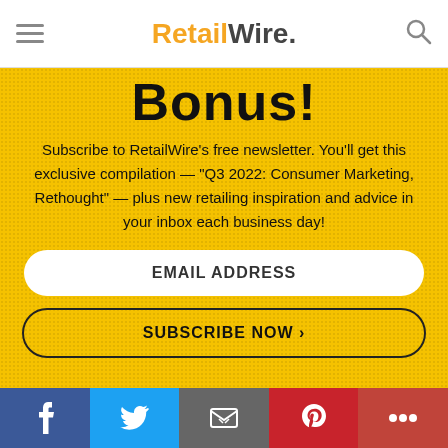RetailWire.
Bonus!
Subscribe to RetailWire's free newsletter. You'll get this exclusive compilation — "Q3 2022: Consumer Marketing, Rethought" — plus new retailing inspiration and advice in your inbox each business day!
EMAIL ADDRESS
SUBSCRIBE NOW ›
Join the Discussion!
[Figure (infographic): Social media share bar with Facebook (blue), Twitter (light blue), Email (gray), Pinterest (red), and More (dark red) buttons]